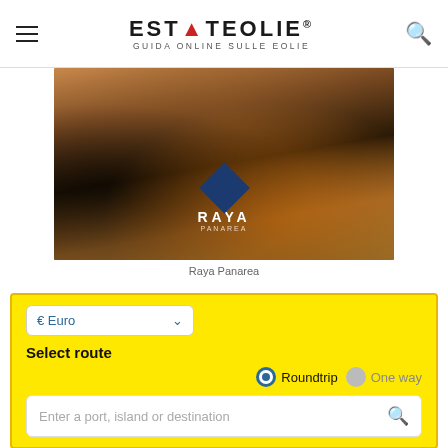ESTATEOLIE® GUIDA ONLINE SULLE EOLIE
[Figure (photo): Outdoor evening scene at Raya Panarea with people dining/socializing on a terrace, warm orange lighting, DJ equipment visible on left, RAYA PANAREA logo with blue diamond shape in center]
Raya Panarea
€ Euro
Select route
Roundtrip  One way
Enter a port, island or destination